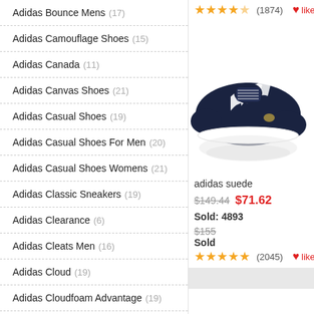Adidas Bounce Mens (17)
Adidas Camouflage Shoes (15)
Adidas Canada (11)
Adidas Canvas Shoes (21)
Adidas Casual Shoes (19)
Adidas Casual Shoes For Men (20)
Adidas Casual Shoes Womens (21)
Adidas Classic Sneakers (19)
Adidas Clearance (6)
Adidas Cleats Men (16)
Adidas Cloud (19)
Adidas Cloudfoam Advantage (19)
Adidas Cloudfoam Black (10)
Adidas Cloudfoam Men (18)
Adidas Cloudfoam Ortholite (12)
[Figure (photo): Adidas suede navy blue sneaker with white stripes, shown from the side with a reflection below]
adidas suede
$149.44  $71.62  Sold: 4893  (2045) like